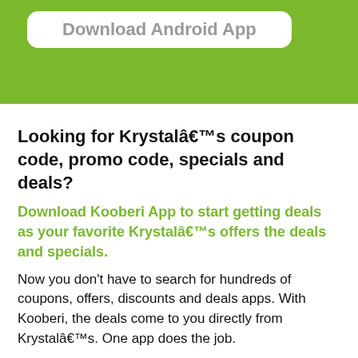[Figure (screenshot): Green banner with a white rounded rectangle button labeled 'Download Android App' in gray bold text]
Looking for Krystalâ€™s coupon code, promo code, specials and deals?
Download Kooberi App to start getting deals as your favorite Krystalâ€™s offers the deals and specials.
Now you don't have to search for hundreds of coupons, offers, discounts and deals apps. With Kooberi, the deals come to you directly from Krystalâ€™s. One app does the job.
Go ahead and delete all the coupon, deals and discount